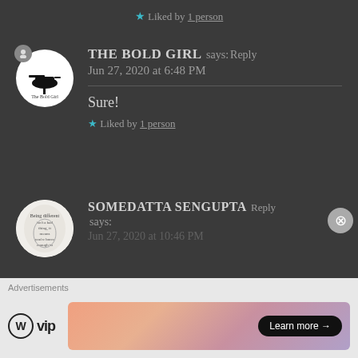★ Liked by 1 person
[Figure (illustration): Avatar circle with The Bold Girl logo — helicopter silhouette and text 'The Bold Girl']
THE BOLD GIRL says: Reply
Jun 27, 2020 at 6:48 PM
Sure!
★ Liked by 1 person
[Figure (illustration): Avatar circle with handwritten-style illustration and text about being different]
SOMEDATTA SENGUPTA says: Reply
Jun 27, 2020 at 10:46 PM
Advertisements
[Figure (logo): WordPress VIP logo — W circle and 'vip' text]
[Figure (illustration): Ad banner with gradient background and 'Learn more →' button]